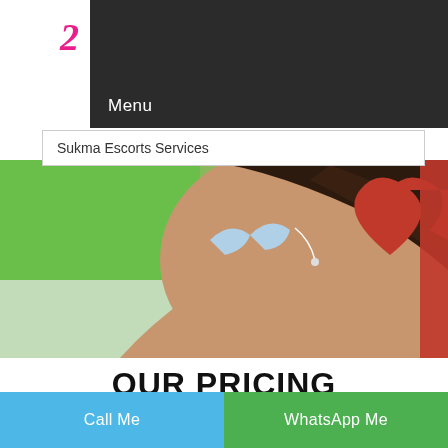[Figure (screenshot): Website screenshot showing a navigation bar with Menu text and hamburger icon on dark background, a logo with pink cursive text on either side, a search bar with 'Sukma Escorts Services' text, a hero image of a woman with dark hair holding a red heart against a green background, a section header 'OUR PRICING', a decorative divider line, and two CTA buttons 'Call Me' and 'WhatsApp Me']
Menu
Sukma Escorts Services
OUR PRICING
Call Me
WhatsApp Me